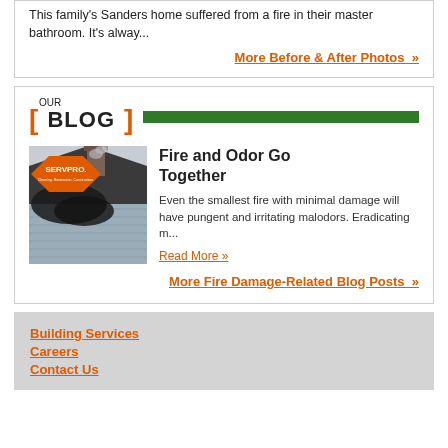This family's Sanders home suffered from a fire in their master bathroom. It's alway...
More Before & After Photos »
OUR BLOG
[Figure (photo): SERVPRO branded photo showing fire damage to a house roof with smoke and burned siding, SERVPRO logo in orange diamond shape at top with text 'Cleaning. Restoration. Construction.']
Fire and Odor Go Together
Even the smallest fire with minimal damage will have pungent and irritating malodors. Eradicating m...
Read More »
More Fire Damage-Related Blog Posts »
Building Services
Careers
Contact Us